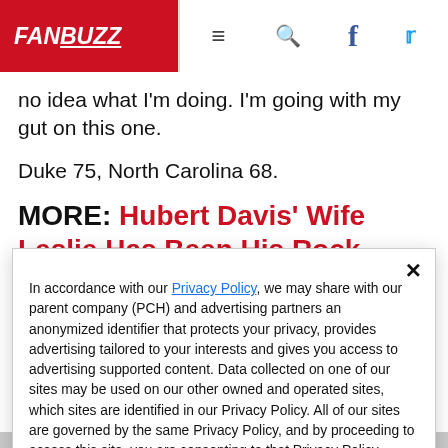FANBUZZ
no idea what I'm doing. I'm going with my gut on this one.
Duke 75, North Carolina 68.
MORE: Hubert Davis' Wife Leslie Has Been His Rock
In accordance with our Privacy Policy, we may share with our parent company (PCH) and advertising partners an anonymized identifier that protects your privacy, provides advertising tailored to your interests and gives you access to advertising supported content. Data collected on one of our sites may be used on our other owned and operated sites, which sites are identified in our Privacy Policy. All of our sites are governed by the same Privacy Policy, and by proceeding to access this site, you are consenting to that Privacy Policy.